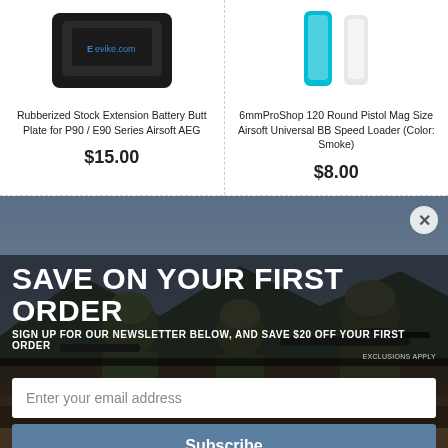[Figure (photo): Rubberized stock extension battery butt plate product image with Evike.com watermark]
[Figure (photo): 6mmProShop 120 Round Pistol Mag Size Airsoft Universal BB Speed Loader in Smoke color - teal and white units shown]
Rubberized Stock Extension Battery Butt Plate for P90 / E90 Series Airsoft AEG
$15.00
6mmProShop 120 Round Pistol Mag Size Airsoft Universal BB Speed Loader (Color: Smoke)
$8.00
[Figure (photo): Military soldiers in camouflage gear aiming rifles, used as promotional banner background]
SAVE ON YOUR FIRST ORDER
SIGN UP FOR OUR NEWSLETTER BELOW, AND SAVE $20 OFF YOUR FIRST ORDER
EXCLUSIONS APPLY
Enter your email address
Subscribe